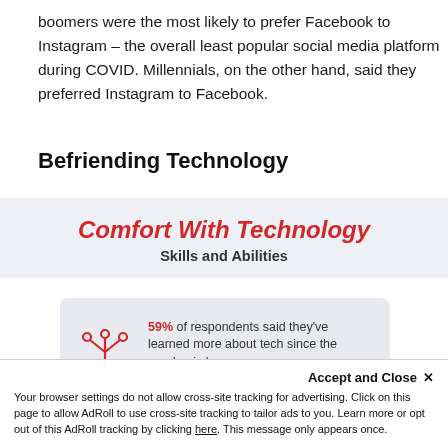boomers were the most likely to prefer Facebook to Instagram – the overall least popular social media platform during COVID. Millennials, on the other hand, said they preferred Instagram to Facebook.
Befriending Technology
[Figure (infographic): Banner reading 'Comfort With Technology' in red italic bold text, with subtitle 'Skills and Abilities' in dark grey]
[Figure (infographic): Stat box: red tech tree icon on left, text reads '59% of respondents said they've learned more about tech since the pandemic began.']
Accept and Close ✕
Your browser settings do not allow cross-site tracking for advertising. Click on this page to allow AdRoll to use cross-site tracking to tailor ads to you. Learn more or opt out of this AdRoll tracking by clicking here. This message only appears once.